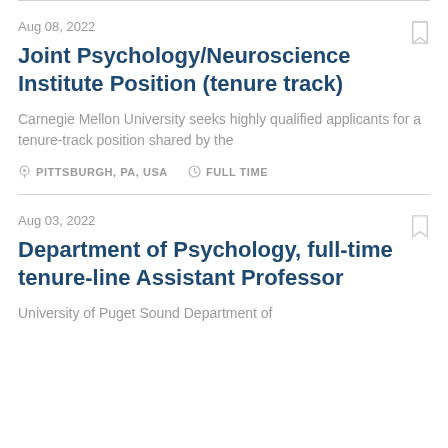Aug 08, 2022
Joint Psychology/Neuroscience Institute Position (tenure track)
Carnegie Mellon University seeks highly qualified applicants for a tenure-track position shared by the
PITTSBURGH, PA, USA   FULL TIME
Aug 03, 2022
Department of Psychology, full-time tenure-line Assistant Professor
University of Puget Sound  Department of